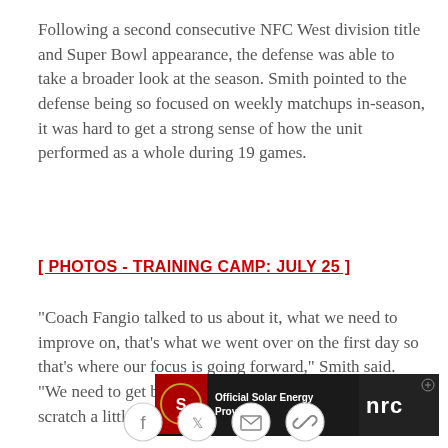Following a second consecutive NFC West division title and Super Bowl appearance, the defense was able to take a broader look at the season. Smith pointed to the defense being so focused on weekly matchups in-season, it was hard to get a strong sense of how the unit performed as a whole during 19 games.
[ PHOTOS - TRAINING CAMP: JULY 25 ]
"Coach Fangio talked to us about it, what we need to improve on, that's what we went over on the first day so that's where our focus is going forward," Smith said. "We need to get back to the basics and start over from scratch a little bit."
[Figure (other): San Francisco 49ers advertisement banner with team logo and text: Official Solar Energy Provider, with NRC branding on the right]
[Figure (other): Social sharing icons: Facebook, Twitter, Email, Link]